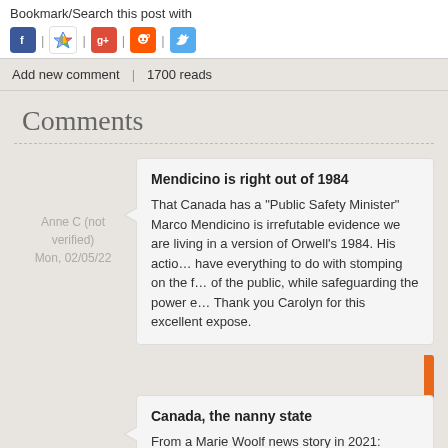Bookmark/Search this post with
[Figure (other): Social media sharing icons: Facebook, Google (colored star), Google+, Reddit, Twitter]
Add new comment | 1700 reads
Comments
Anne C (not verified)
Mon, 02/05/22
Mendicino is right out of 1984
That Canada has a "Public Safety Minister" Marco Mendicino is irrefutable evidence we are living in a version of Orwell's 1984. His actions have everything to do with stomping on the freedoms of the public, while safeguarding the power e... Thank you Carolyn for this excellent expose.
Canada, the nanny state
From a Marie Woolf news story in 2021: